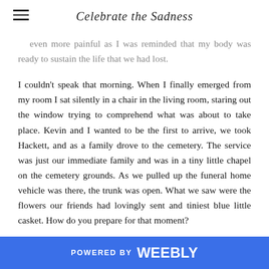Celebrate the Sadness
even more painful as I was reminded that my body was ready to sustain the life that we had lost.
I couldn't speak that morning. When I finally emerged from my room I sat silently in a chair in the living room, staring out the window trying to comprehend what was about to take place. Kevin and I wanted to be the first to arrive, we took Hackett, and as a family drove to the cemetery. The service was just our immediate family and was in a tiny little chapel on the cemetery grounds. As we pulled up the funeral home vehicle was there, the trunk was open. What we saw were the flowers our friends had lovingly sent and tiniest blue little casket. How do you prepare for that moment?
We had brought our iPad with a speaker so we could play the same sweet praise album we listened to during my labor and our time with Koen. I thought I would have couldn't say something, I sensed that I
POWERED BY weebly